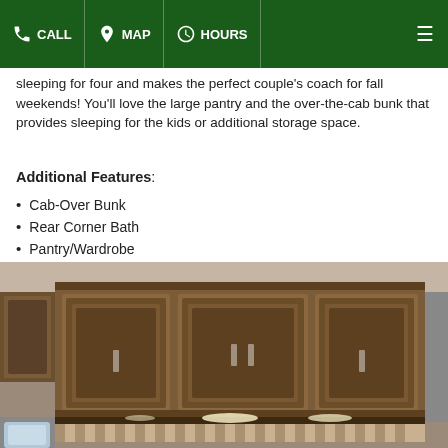CALL  MAP  HOURS
sleeping for four and makes the perfect couple's coach for fall weekends! You'll love the large pantry and the over-the-cab bunk that provides sleeping for the kids or additional storage space.
Additional Features:
Cab-Over Bunk
Rear Corner Bath
Pantry/Wardrobe
[Figure (photo): Interior photo of an RV showing wood cabinet overhead storage units with multiple doors and brushed metal handles, with under-cabinet lighting and a decorative valance below. Lower portion shows a window and partial view of the living area.]